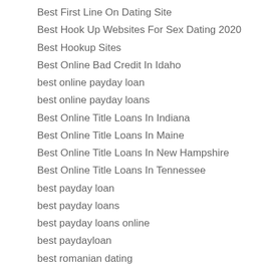Best First Line On Dating Site
Best Hook Up Websites For Sex Dating 2020
Best Hookup Sites
Best Online Bad Credit In Idaho
best online payday loan
best online payday loans
Best Online Title Loans In Indiana
Best Online Title Loans In Maine
Best Online Title Loans In New Hampshire
Best Online Title Loans In Tennessee
best payday loan
best payday loans
best payday loans online
best paydayloan
best romanian dating
Best Sugar Daddy Dating Site
Best Title Loans In New Mexico